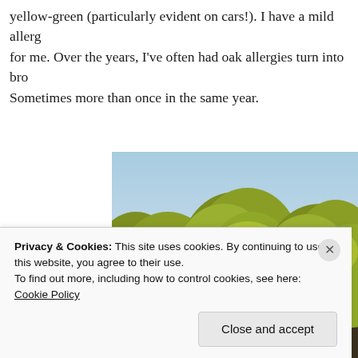yellow-green (particularly evident on cars!). I have a mild allergy for me. Over the years, I've often had oak allergies turn into bro. Sometimes more than once in the same year.
[Figure (photo): Photo of large oak trees with yellow-green foliage against a light blue sky]
Privacy & Cookies: This site uses cookies. By continuing to use this website, you agree to their use. To find out more, including how to control cookies, see here: Cookie Policy